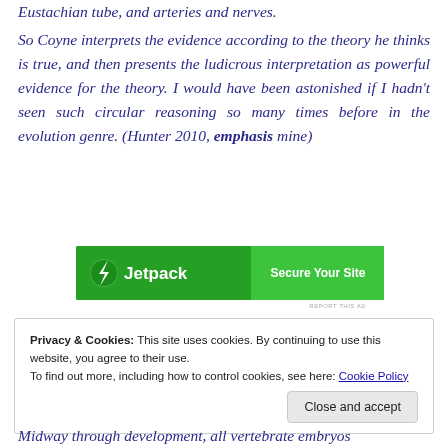Eustachian tube, and arteries and nerves.
So Coyne interprets the evidence according to the theory he thinks is true, and then presents the ludicrous interpretation as powerful evidence for the theory. I would have been astonished if I hadn't seen such circular reasoning so many times before in the evolution genre. (Hunter 2010, emphasis mine)
[Figure (other): Jetpack advertisement banner with green background saying 'Secure Your Site']
Privacy & Cookies: This site uses cookies. By continuing to use this website, you agree to their use.
To find out more, including how to control cookies, see here: Cookie Policy
Midway through development, all vertebrate embryos